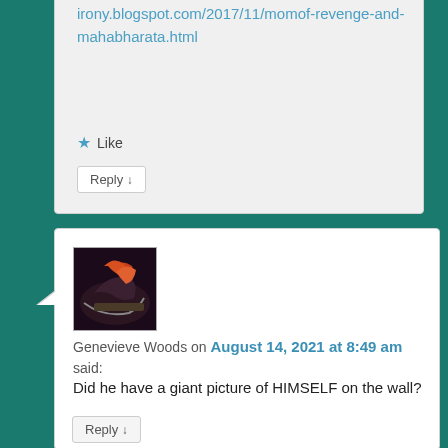irony.blogspot.com/2017/11/momof-revenge-and-mahabharata.html
★ Like
Reply ↓
[Figure (photo): Profile picture avatar showing an artistic painting with birds and nature scene in dark tones]
Genevieve Woods on August 14, 2021 at 8:49 am said:
Did he have a giant picture of HIMSELF on the wall?
★ Like
Reply ↓